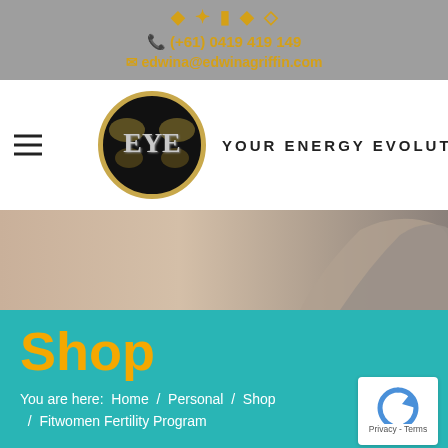(+61) 0419 419 149 | edwina@edwinagriffin.com
[Figure (logo): EYE (Your Energy Evolution) circular logo with butterfly motif on black background with gold border, and brand name YOUR ENERGY EVOLUTION to the right]
[Figure (photo): Outdoor hero image showing a rock or stone formation against a hazy sky]
Shop
You are here:  Home  /  Personal  /  Shop  /  Fitwomen Fertility Program